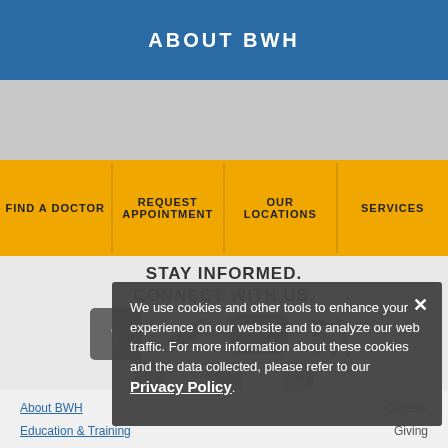ABOUT BWH
[Figure (screenshot): Gray photographic strip behind navigation]
| FIND A DOCTOR | REQUEST APPOINTMENT | OUR LOCATIONS | SERVICES |
| --- | --- | --- | --- |
STAY INFORMED. CONNECT WITH US.
[Figure (infographic): Social media icons: Facebook, Twitter, YouTube, Blog/RSS, LinkedIn, Email, Instagram]
We use cookies and other tools to enhance your experience on our website and to analyze our web traffic. For more information about these cookies and the data collected, please refer to our Privacy Policy.
About BWH
Careers
Education & Training
Giving